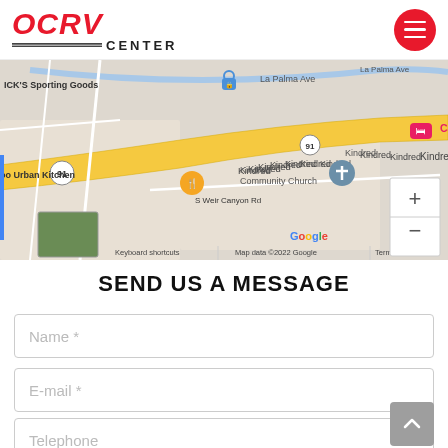OC RV CENTER
[Figure (map): Google Maps screenshot showing area near S Weir Canyon Rd, Anaheim CA. Shows route 91, La Palma Ave, Canyon RV Park, Kindred Community Church, Running Springs, DICK'S Sporting Goods, Boo Urban Kitchen. Map data ©2022 Google.]
SEND US A MESSAGE
Name *
E-mail *
Telephone